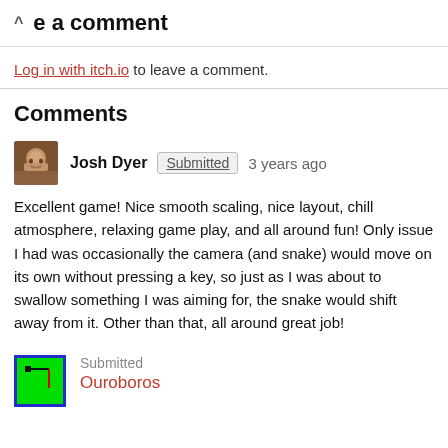e a comment
Log in with itch.io to leave a comment.
Comments
Josh Dyer  Submitted  3 years ago
Excellent game! Nice smooth scaling, nice layout, chill atmosphere, relaxing game play, and all around fun! Only issue I had was occasionally the camera (and snake) would move on its own without pressing a key, so just as I was about to swallow something I was aiming for, the snake would shift away from it. Other than that, all around great job!
Submitted
Ouroboros